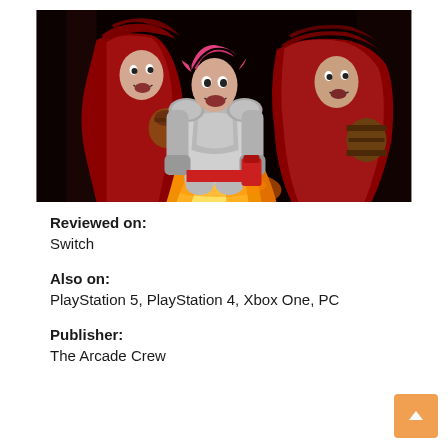[Figure (illustration): Video game screenshot showing cartoon-style characters: a knight in silver armor with pink hair in the center, flanked by two hooded figures in red cloaks. Flames and fire effects visible at the bottom. Dark background with dramatic lighting.]
Reviewed on: Switch
Also on: PlayStation 5, PlayStation 4, Xbox One, PC
Publisher: The Arcade Crew